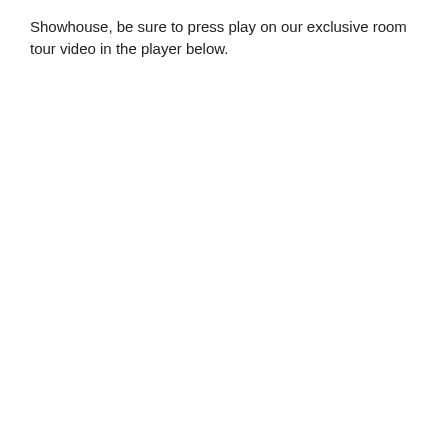Showhouse, be sure to press play on our exclusive room tour video in the player below.